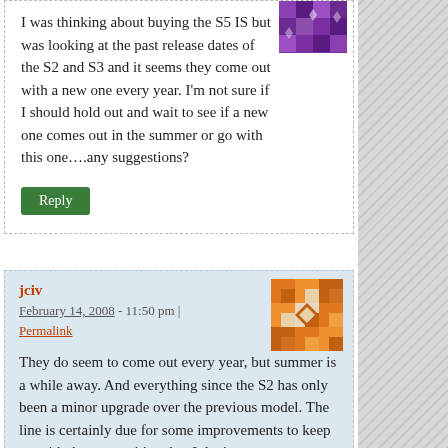[Figure (illustration): Purple mosaic/avatar image in upper right of first comment]
I was thinking about buying the S5 IS but was looking at the past release dates of the S2 and S3 and it seems they come out with a new one every year. I'm not sure if I should hold out and wait to see if a new one comes out in the summer or go with this one….any suggestions?
Reply
jciv
February 14, 2008 - 11:50 pm | Permalink
[Figure (illustration): Orange mosaic/avatar image for jciv comment]
They do seem to come out every year, but summer is a while away. And everything since the S2 has only been a minor upgrade over the previous model. The line is certainly due for some improvements to keep up with the competition, but I don't